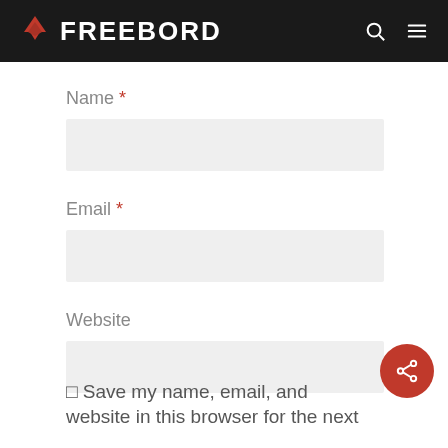FREEBORD
Name *
Email *
Website
□ Save my name, email, and website in this browser for the next